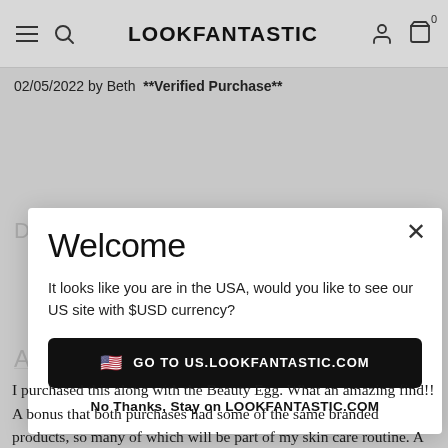LOOKFANTASTIC
02/05/2022 by Beth  **Verified Purchase**
[Figure (screenshot): LOOKFANTASTIC website modal popup with Welcome message asking if user wants to go to US site with $USD currency, with a 'GO TO US.LOOKFANTASTIC.COM' button and 'No Thanks, Stay on LOOKFANTASTIC.COM' option]
I purchased this along with the Beauty Egg. What an amazing find!! A bonus that both purchases had some of the same branded products, so many of which will be part of my skin care routine. A fantastic